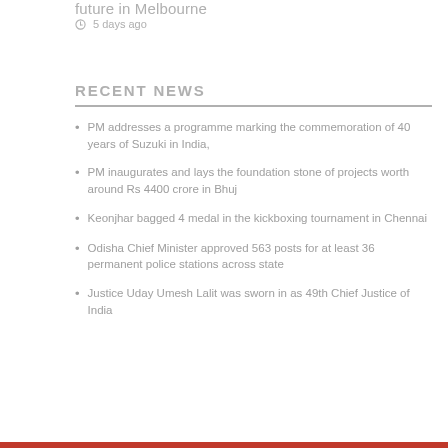future in Melbourne
5 days ago
RECENT NEWS
PM addresses a programme marking the commemoration of 40 years of Suzuki in India,
PM inaugurates and lays the foundation stone of projects worth around Rs 4400 crore in Bhuj
Keonjhar bagged 4 medal in the kickboxing tournament in Chennai
Odisha Chief Minister approved 563 posts for at least 36 permanent police stations across state
Justice Uday Umesh Lalit was sworn in as 49th Chief Justice of India